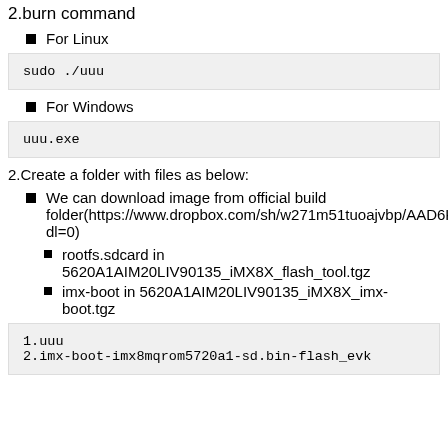2.burn command
For Linux
sudo ./uuu
For Windows
uuu.exe
2.Create a folder with files as below:
We can download image from official build folder(https://www.dropbox.com/sh/w271m51tuoajvbp/AAD6KONRUXCLKL8y4hia?dl=0)
rootfs.sdcard in 5620A1AIM20LIV90135_iMX8X_flash_tool.tgz
imx-boot in 5620A1AIM20LIV90135_iMX8X_imx-boot.tgz
1.uuu
2.imx-boot-imx8mqrom5720a1-sd.bin-flash_evk